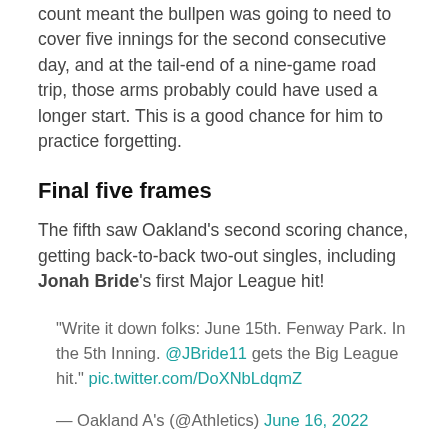count meant the bullpen was going to need to cover five innings for the second consecutive day, and at the tail-end of a nine-game road trip, those arms probably could have used a longer start. This is a good chance for him to practice forgetting.
Final five frames
The fifth saw Oakland’s second scoring chance, getting back-to-back two-out singles, including Jonah Bride’s first Major League hit!
“Write it down folks: June 15th. Fenway Park. In the 5th Inning. @JBride11 gets the Big League hit.” pic.twitter.com/DoXNbLdqmZ
— Oakland A’s (@Athletics) June 16, 2022